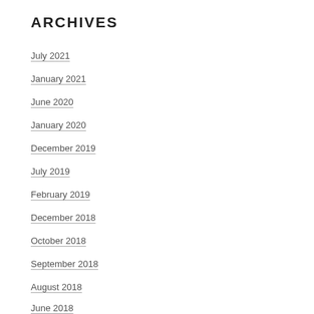ARCHIVES
July 2021
January 2021
June 2020
January 2020
December 2019
July 2019
February 2019
December 2018
October 2018
September 2018
August 2018
June 2018